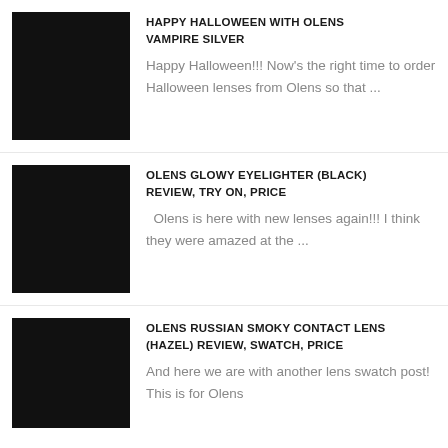[Figure (photo): Black thumbnail image for Happy Halloween with Olens Vampire Silver post]
HAPPY HALLOWEEN WITH OLENS VAMPIRE SILVER
Happy Halloween!!! Now's the right time to order Halloween lenses from Olens so that ...
[Figure (photo): Black thumbnail image for Olens Glowy Eyelighter Black review post]
OLENS GLOWY EYELIGHTER (BLACK) REVIEW, TRY ON, PRICE
Olens is here with new lenses again!!! I think they were amazed at the ...
[Figure (photo): Black thumbnail image for Olens Russian Smoky Contact Lens Hazel review post]
OLENS RUSSIAN SMOKY CONTACT LENS (HAZEL) REVIEW, SWATCH, PRICE
And here we are with another lens swatch post! This is for Olens